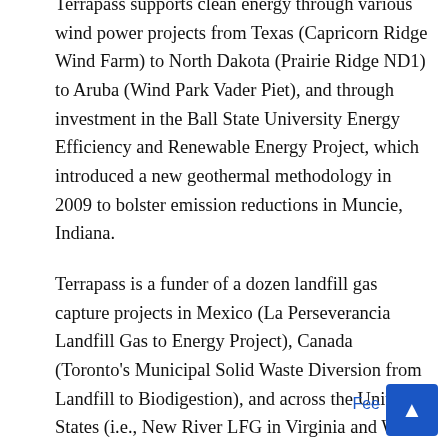Terrapass supports clean energy through various wind power projects from Texas (Capricorn Ridge Wind Farm) to North Dakota (Prairie Ridge ND1) to Aruba (Wind Park Vader Piet), and through investment in the Ball State University Energy Efficiency and Renewable Energy Project, which introduced a new geothermal methodology in 2009 to bolster emission reductions in Muncie, Indiana.
Terrapass is a funder of a dozen landfill gas capture projects in Mexico (La Perseverancia Landfill Gas to Energy Project), Canada (Toronto's Municipal Solid Waste Diversion from Landfill to Biodigestion), and across the United States (i.e., New River LFG in Virginia and Wolf Creek Landfill in Georgia). Biogas that enable the air energy projects the...